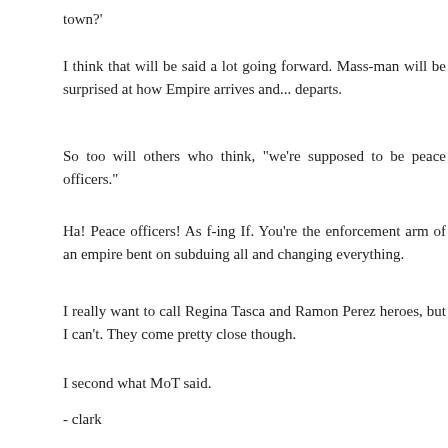town?'
I think that will be said a lot going forward. Mass-man will be surprised at how Empire arrives and... departs.
So too will others who think, "we're supposed to be peace officers."
Ha! Peace officers! As f-ing If. You're the enforcement arm of an empire bent on subduing all and changing everything.
I really want to call Regina Tasca and Ramon Perez heroes, but I can't. They come pretty close though.
I second what MoT said.
- clark
Reply
Anonymous April 29, 2012 at 1:41 AM